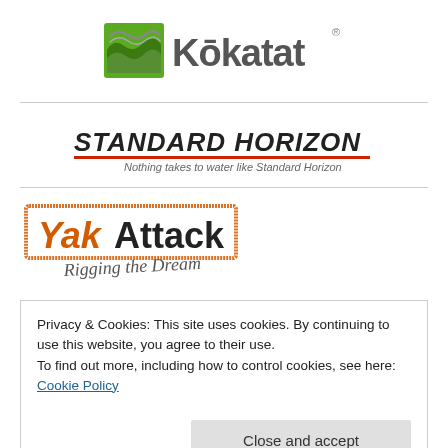[Figure (logo): Kokatat brand logo with green/grey wave icon and bold grey text]
[Figure (logo): Standard Horizon logo with bold italic text and red underline, tagline: Nothing takes to water like Standard Horizon]
[Figure (logo): YakAttack logo with orange stamp-style border, bold text, and handwritten tagline: Rigging the Dream]
Privacy & Cookies: This site uses cookies. By continuing to use this website, you agree to their use.
To find out more, including how to control cookies, see here: Cookie Policy
Close and accept